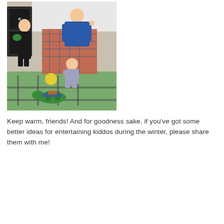[Figure (photo): Indoor photo of children playing in a bedroom. A young boy in dark pajamas stands to the left holding a basket, another person (adult) bends over in the middle wearing a blue jacket, a toddler bends down on all fours, and a stuffed green dinosaur toy and a yellow ball are on a green road-map play rug. A dark wooden dresser is visible in the background.]
Keep warm, friends! And for goodness sake, if you've got some better ideas for entertaining kiddos during the winter, please share them with me!